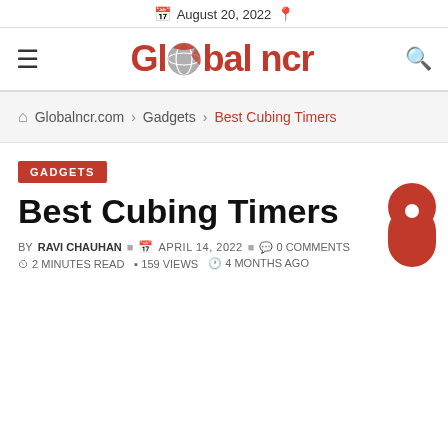August 20, 2022
[Figure (logo): Global NCR logo with globe icon replacing the letter 'o' in Global, red text on white background]
Globalncr.com > Gadgets > Best Cubing Timers
GADGETS
Best Cubing Timers
BY RAVI CHAUHAN  APRIL 14, 2022  0 COMMENTS
2 MINUTES READ  159 VIEWS  4 MONTHS AGO